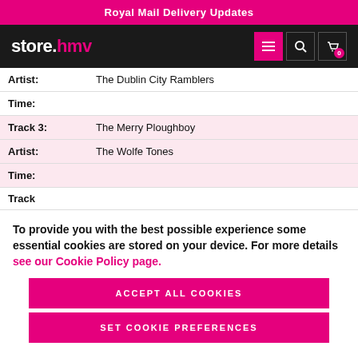Royal Mail Delivery Updates
[Figure (logo): store.hmv logo with navigation icons (menu, search, cart)]
| Artist: | The Dublin City Ramblers |
| Time: |  |
| Track 3: | The Merry Ploughboy |
| Artist: | The Wolfe Tones |
| Time: |  |
| Track: |  |
To provide you with the best possible experience some essential cookies are stored on your device. For more details see our Cookie Policy page.
ACCEPT ALL COOKIES
SET COOKIE PREFERENCES